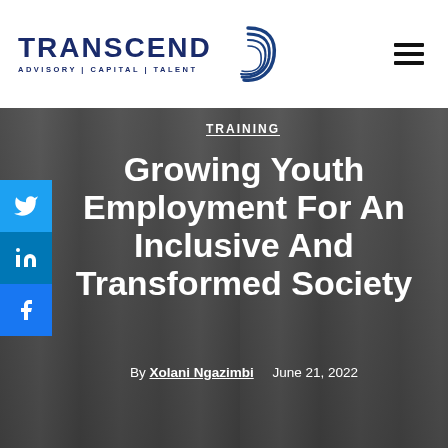[Figure (logo): Transcend Advisory Capital Talent logo with circular arc graphic]
TRAINING
Growing Youth Employment For An Inclusive And Transformed Society
By Xolani Ngazimbi   June 21, 2022